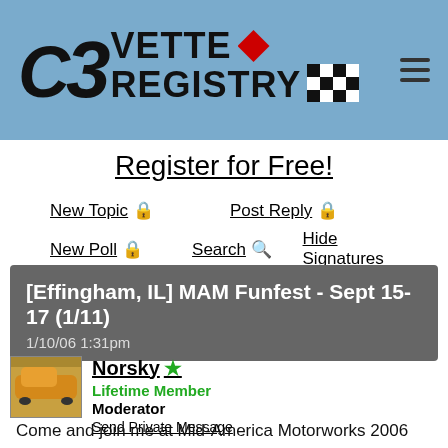[Figure (logo): C3 Vette Registry logo with red diamond and checkered flag on blue background, with hamburger menu icon]
Register for Free!
New Topic 🔒
Post Reply 🔒
New Poll 🔒
Search 🔍
Hide Signatures
[Effingham, IL] MAM Funfest - Sept 15-17 (1/11)
1/10/06 1:31pm
Norsky ★ Lifetime Member Moderator Send Private Message
Come and join me at Mid-America Motorworks 2006 Funfest, September 15, 16, and 17 held at MAM's